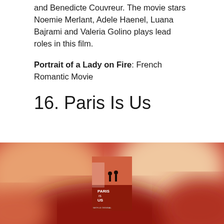and Benedicte Couvreur. The movie stars Noemie Merlant, Adele Haenel, Luana Bajrami and Valeria Golino plays lead roles in this film.
Portrait of a Lady on Fire: French Romantic Movie
16. Paris Is Us
[Figure (photo): Blurred reddish-orange movie poster background for 'Paris Is Us' with a small centered movie poster thumbnail showing two silhouetted figures and the text 'PARIS IS US']